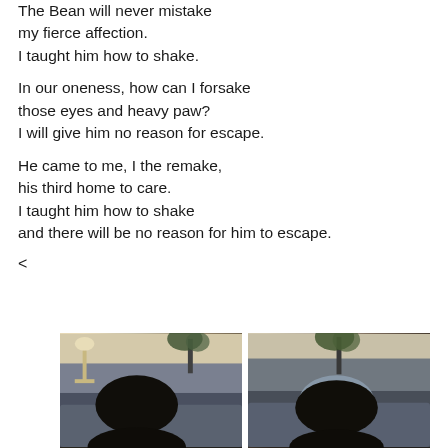The Bean will never mistake
my fierce affection.
I taught him how to shake.
In our oneness, how can I forsake
those eyes and heavy paw?
I will give him no reason for escape.
He came to me, I the remake,
his third home to care.
I taught him how to shake
and there will be no reason for him to escape.
<
[Figure (photo): Two side-by-side photos of a dark-colored dog resting on a blue-gray couch or chair, viewed from behind, with a lamp and plants visible in the background of the left photo, and a plant and what appears to be a knitted hat on the dog or nearby in the right photo.]